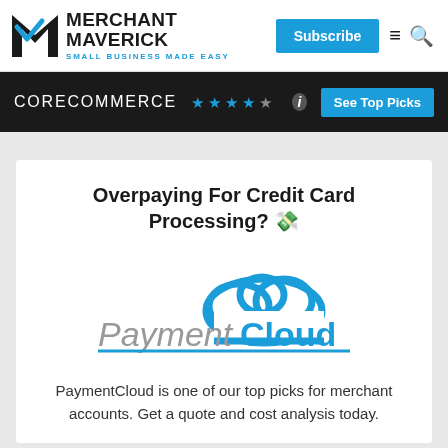Merchant Maverick — Small Business Made Easy
CORECOMMERCE ★★★★☆ — See Top Picks
Overpaying For Credit Card Processing? 💸
[Figure (logo): PaymentCloud logo — grey italic 'Payment' text followed by blue bold 'Cloud' text with a blue cloud shape above]
PaymentCloud is one of our top picks for merchant accounts. Get a quote and cost analysis today.